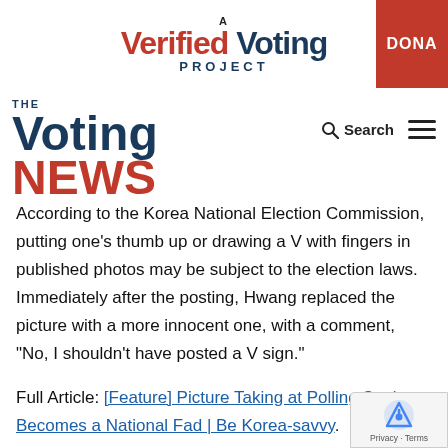A Verified Voting Project | DONATE
[Figure (logo): The Voting News logo with search and menu icons]
According to the Korea National Election Commission, putting one's thumb up or drawing a V with fingers in published photos may be subject to the election laws. Immediately after the posting, Hwang replaced the picture with a more innocent one, with a comment, "No, I shouldn't have posted a V sign."
Full Article: [Feature] Picture Taking at Polling Stations Becomes a National Fad | Be Korea-savvy.